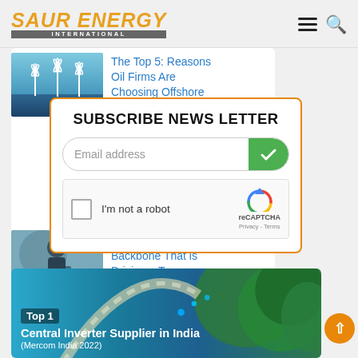SAUR ENERGY INTERNATIONAL
The Top 5: Reasons Oil Firms Are Choosing Offshore
SUBSCRIBE NEWS LETTER
Email address
I'm not a robot
reCAPTCHA Privacy - Terms
Infrastructure: The Backbone That is Driving a T...
[Figure (screenshot): Banner image showing aerial road through forest with text: Top 1 Central Inverter Supplier in India (Mercom India 2022)]
Top 1
Central Inverter Supplier in India
(Mercom India 2022)